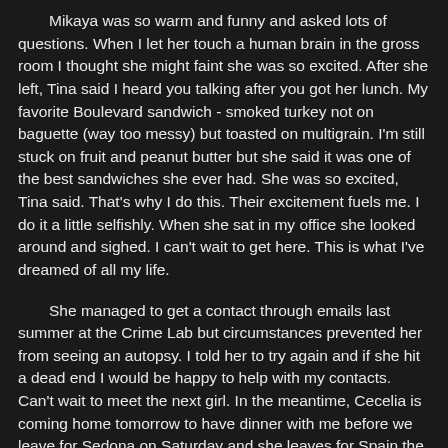Mikaya was so warm and funny and asked lots of questions. When I let her touch a human brain in the gross room I thought she might faint she was so excited. After she left, Tina said I heard you talking after you got her lunch. My favorite Boulevard sandwich - smoked turkey not on baguette (way too messy) but toasted on multigrain. I'm still stuck on fruit and peanut butter but she said it was one of the best sandwiches she ever had. She was so excited, Tina said. That's why I do this. Their excitement fuels me. I do it a little selfishly. When she sat in my office she looked around and sighed. I can't wait to get here. This is what I've dreamed of all my life.
She managed to get a contact through emails last summer at the Crime Lab but circumstances prevented her from seeing an autopsy. I told her to try again and if she hit a dead end I would be happy to help with my contacts. Can't wait to meet the next girl. In the meantime, Cecelia is coming home tomorrow to have dinner with me before we leave for Sedona on Saturday and she leaves for Spain the following week.